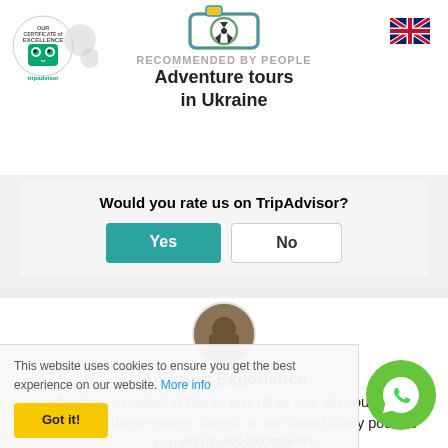[Figure (logo): Adventure tours in Ukraine logo with radioactive camera icon]
[Figure (logo): TripAdvisor Certificate of Excellence badge]
[Figure (logo): UK flag icon]
RECOMMENDED BY PEOPLE
Adventure tours in Ukraine
Would you rate us on TripAdvisor?
Yes
No
[Figure (photo): Circular reviewer profile photo]
Amazing Experience
If you're considering this or any other tour we couldn't recommend them enough based on our fantastically positive experience today. Our
endly and informative
ore...
Payroll
days ago
This website uses cookies to ensure you get the best experience on our website. More info
Got it!